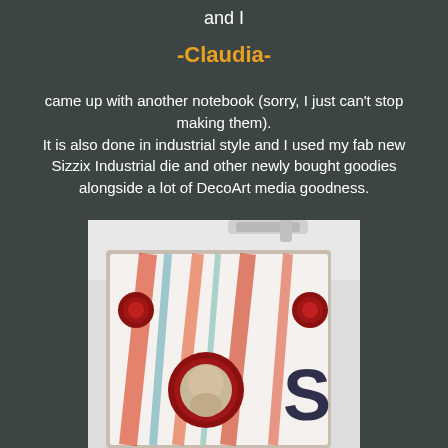and I
-Claudia-
came up with another notebook (sorry, I just can't stop making them).
It is also done in industrial style and I used my fab new Sizzix Industrial die and other newly bought goodies alongside a lot of DecoArt media goodness.
[Figure (photo): A handmade industrial-style notebook with colorful painted cover featuring red, teal, and white splatters, a vintage portrait in a circular frame, red rivets in corners, and partial text including the letter 'S'. A metal binder ring is visible at the top.]